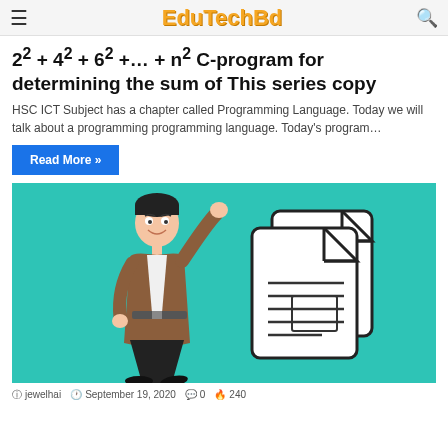EduTechBd
2² + 4² + 6² +… + n² C-program for determining the sum of This series copy
HSC ICT Subject has a chapter called Programming Language. Today we will talk about a programming programming language. Today's program…
Read More »
[Figure (illustration): Teal/turquoise background with a cartoon man in a brown jacket waving, and a document/file icon with text lines on the right]
jewelhai  September 19, 2020  0  240